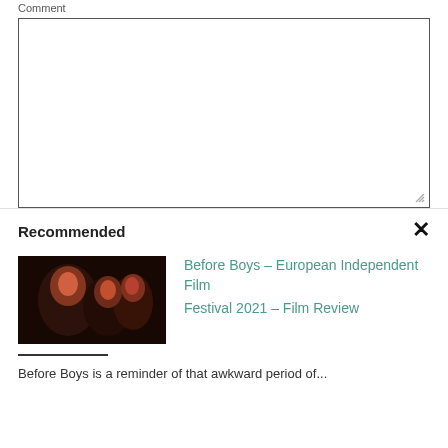Comment
[Figure (screenshot): Empty comment text area input box with resize handle at bottom right]
Recommended
[Figure (photo): Dark photo of people, thumbnail for Before Boys film review article]
Before Boys – European Independent Film Festival 2021 – Film Review
Before Boys is a reminder of that awkward period of...